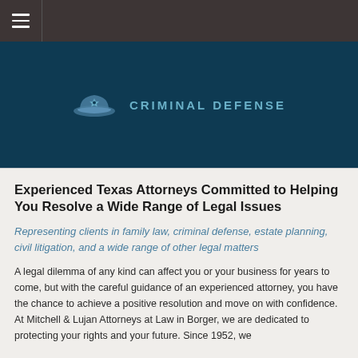☰ [navigation bar]
[Figure (illustration): Dark navy hero banner with police officer hat icon and text CRIMINAL DEFENSE in teal]
Experienced Texas Attorneys Committed to Helping You Resolve a Wide Range of Legal Issues
Representing clients in family law, criminal defense, estate planning, civil litigation, and a wide range of other legal matters
A legal dilemma of any kind can affect you or your business for years to come, but with the careful guidance of an experienced attorney, you have the chance to achieve a positive resolution and move on with confidence. At Mitchell & Lujan Attorneys at Law in Borger, we are dedicated to protecting your rights and your future. Since 1952, we